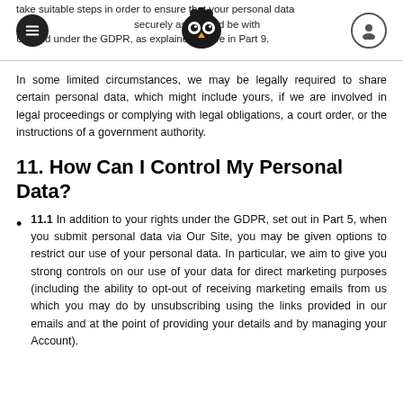take suitable steps in order to ensure that your personal data treated just as safely and securely as it would be within the UK and under the GDPR, as explained above in Part 9.
In some limited circumstances, we may be legally required to share certain personal data, which might include yours, if we are involved in legal proceedings or complying with legal obligations, a court order, or the instructions of a government authority.
11. How Can I Control My Personal Data?
11.1 In addition to your rights under the GDPR, set out in Part 5, when you submit personal data via Our Site, you may be given options to restrict our use of your personal data. In particular, we aim to give you strong controls on our use of your data for direct marketing purposes (including the ability to opt-out of receiving marketing emails from us which you may do by unsubscribing using the links provided in our emails and at the point of providing your details and by managing your Account).